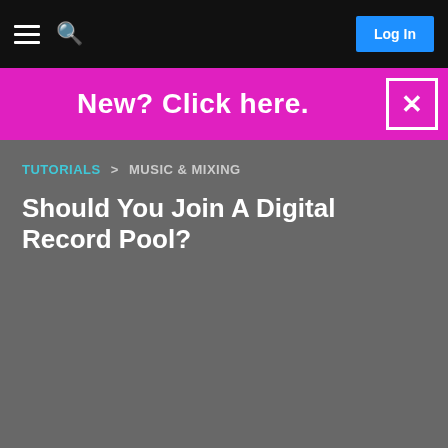Menu | Search | Log In
New? Click here.
TUTORIALS > MUSIC & MIXING
Should You Join A Digital Record Pool?